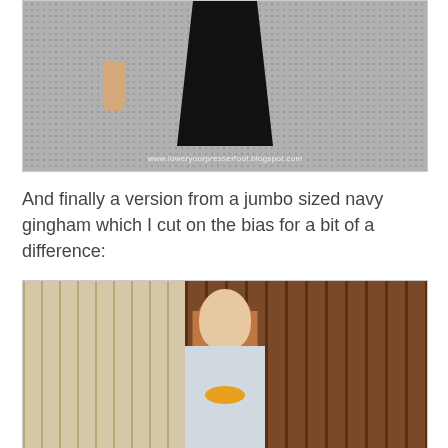[Figure (photo): Photo of person wearing a black garment against a dotted/textured background, with watermark text 'www.loweryourpresserfoot.blogspot.com' at the bottom]
And finally a version from a jumbo sized navy gingham which I cut on the bias for a bit of a difference:
[Figure (photo): Photo of a woman with long reddish-brown hair smiling, wearing a gingham top and yellow necklace, standing in front of a wooden fence]